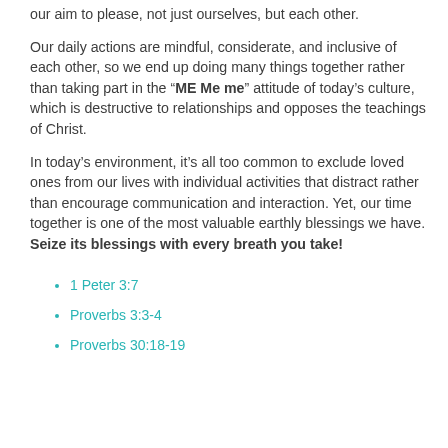our aim to please, not just ourselves, but each other.
Our daily actions are mindful, considerate, and inclusive of each other, so we end up doing many things together rather than taking part in the “ME Me me” attitude of today’s culture, which is destructive to relationships and opposes the teachings of Christ.
In today’s environment, it’s all too common to exclude loved ones from our lives with individual activities that distract rather than encourage communication and interaction. Yet, our time together is one of the most valuable earthly blessings we have. Seize its blessings with every breath you take!
1 Peter 3:7
Proverbs 3:3-4
Proverbs 30:18-19